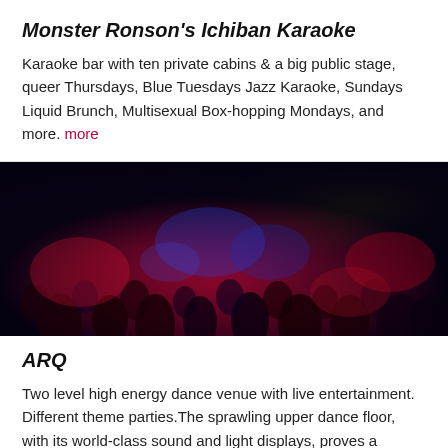Monster Ronson's Ichiban Karaoke
Karaoke bar with ten private cabins & a big public stage, queer Thursdays, Blue Tuesdays Jazz Karaoke, Sundays Liquid Brunch, Multisexual Box-hopping Mondays, and more. more
[Figure (photo): Dark nightclub interior with red and blue neon lighting, crowded dance floor with people silhouetted against colored lights]
ARQ
Two level high energy dance venue with live entertainment. Different theme parties.The sprawling upper dance floor, with its world-class sound and light displays, proves a favorite for late-night music lovers, while the downstairs stage plays host to a fun array of